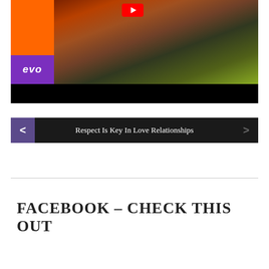[Figure (screenshot): Video thumbnail showing dancers on stairs with Vevo branding (orange and purple blocks on left side), a red play button at top center, and a black bar at the bottom.]
< Respect Is Key In Love Relationships >
FACEBOOK – CHECK THIS OUT